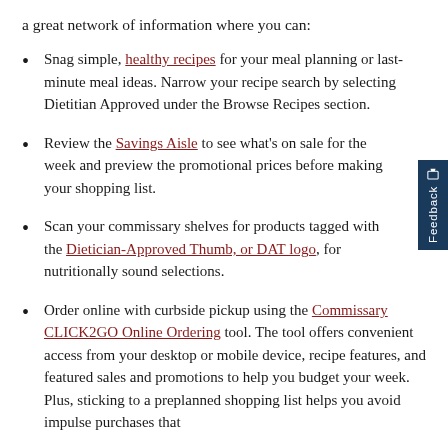a great network of information where you can:
Snag simple, healthy recipes for your meal planning or last-minute meal ideas. Narrow your recipe search by selecting Dietitian Approved under the Browse Recipes section.
Review the Savings Aisle to see what's on sale for the week and preview the promotional prices before making your shopping list.
Scan your commissary shelves for products tagged with the Dietician-Approved Thumb, or DAT logo, for nutritionally sound selections.
Order online with curbside pickup using the Commissary CLICK2GO Online Ordering tool. The tool offers convenient access from your desktop or mobile device, recipe features, and featured sales and promotions to help you budget your week. Plus, sticking to a preplanned shopping list helps you avoid impulse purchases that